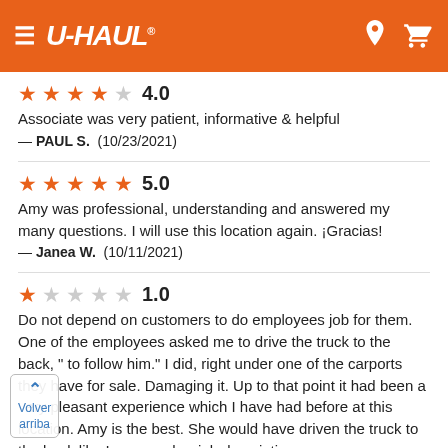U-HAUL
4.0
Associate was very patient, informative & helpful
— PAUL S.  (10/23/2021)
5.0
Amy was professional, understanding and answered my many questions. I will use this location again. ¡Gracias!
— Janea W.  (10/11/2021)
1.0
Do not depend on customers to do employees job for them. One of the employees asked me to drive the truck to the back, " to follow him." I did, right under one of the carports they have for sale. Damaging it. Up to that point it had been a very pleasant experience which I have had before at this location. Amy is the best. She would have driven the truck to the back like I am sure her job description